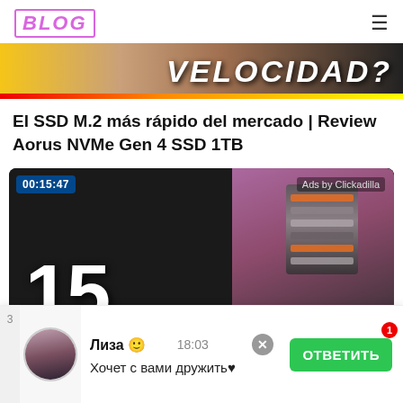BLOG
[Figure (screenshot): Banner strip with gradient background and text 'VELOCIDAD?' in bold white italic letters]
El SSD M.2 más rápido del mercado | Review Aorus NVMe Gen 4 SSD 1TB
[Figure (screenshot): Video thumbnail showing '15 GEN4 SSDs' text with a woman smiling in the background and SSD drives, with timer 00:15:47 and 'Ads by Clickadilla' overlay]
Лиза 🙂
Хочет с вами дружить♥
18:03
ОТВЕТИТЬ